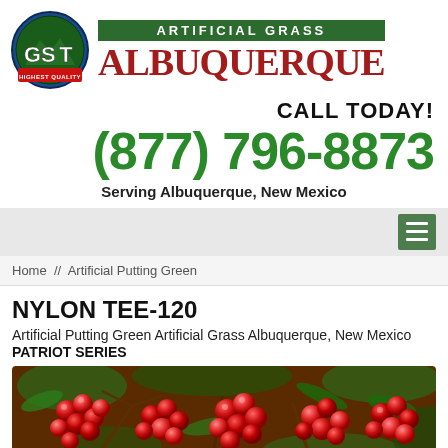[Figure (logo): GST Artificial Grass Albuquerque logo with green circular badge and red ARTIFICIAL GRASS bar above ALBUQUERQUE text]
CALL TODAY!
(877) 796-8873
Serving Albuquerque, New Mexico
Home // Artificial Putting Green
NYLON TEE-120
Artificial Putting Green Artificial Grass Albuquerque, New Mexico
PATRIOT SERIES
[Figure (photo): Close-up photo of red berries on green plant branches]